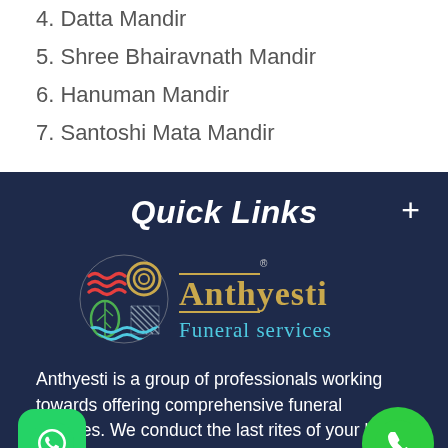4. Datta Mandir
5. Shree Bhairavnath Mandir
6. Hanuman Mandir
7. Santoshi Mata Mandir
Quick Links
[Figure (logo): Anthyesti Funeral Services logo with circular multicolor emblem and text]
Anthyesti is a group of professionals working towards offering comprehensive funeral services. We conduct the last rites of your loved ones in a respectful manner